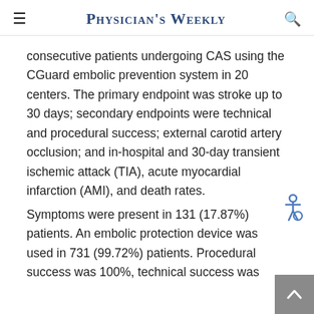Physician's Weekly
consecutive patients undergoing CAS using the CGuard embolic prevention system in 20 centers. The primary endpoint was stroke up to 30 days; secondary endpoints were technical and procedural success; external carotid artery occlusion; and in-hospital and 30-day transient ischemic attack (TIA), acute myocardial infarction (AMI), and death rates.
Symptoms were present in 131 (17.87%) patients. An embolic protection device was used in 731 (99.72%) patients. Procedural success was 100%, technical success was